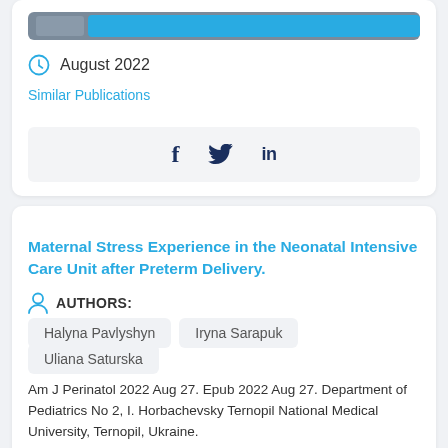[Figure (other): Gray bar with blue button at top, partially visible view article/full text button]
August 2022
Similar Publications
[Figure (other): Social sharing bar with Facebook, Twitter, and LinkedIn icons]
Maternal Stress Experience in the Neonatal Intensive Care Unit after Preterm Delivery.
AUTHORS:
Halyna Pavlyshyn
Iryna Sarapuk
Uliana Saturska
Am J Perinatol 2022 Aug 27. Epub 2022 Aug 27. Department of Pediatrics No 2, I. Horbachevsky Ternopil National Medical University, Ternopil, Ukraine. Objective: Preterm delivery with the admission of a